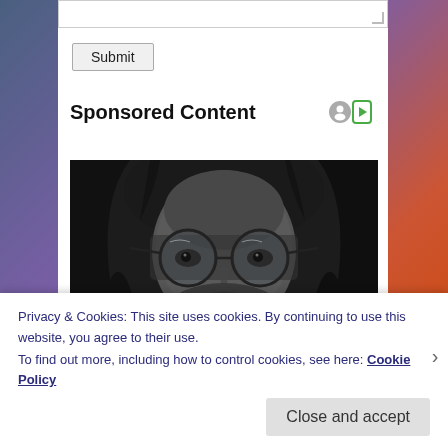[Figure (screenshot): Top portion of a web form showing a textarea and a Submit button on white background with colorful background visible on sides]
Sponsored Content
[Figure (photo): Black and white close-up photo of a young man with long hair and round glasses looking at the camera]
Privacy & Cookies: This site uses cookies. By continuing to use this website, you agree to their use.
To find out more, including how to control cookies, see here: Cookie Policy
Close and accept